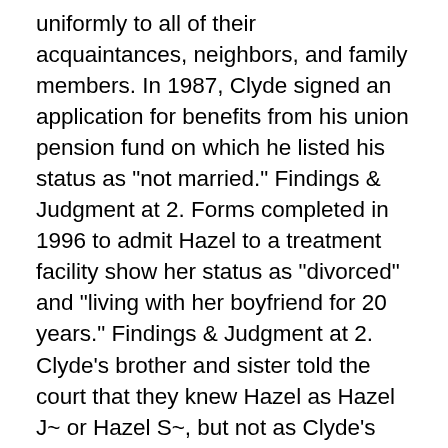uniformly to all of their acquaintances, neighbors, and family members. In 1987, Clyde signed an application for benefits from his union pension fund on which he listed his status as "not married." Findings & Judgment at 2. Forms completed in 1996 to admit Hazel to a treatment facility show her status as "divorced" and "living with her boyfriend for 20 years." Findings & Judgment at 2. Clyde's brother and sister told the court that they knew Hazel as Hazel J~ or Hazel S~, but not as Clyde's wife. We believe that the Supreme Court of Indiana, if it were to examine the same evidence that was presented to the Vigo Superior Court, would conclude that Hazel and Clyde did not meet the requirement of a uniform holding out of their relationship as husband and wife in the community, as